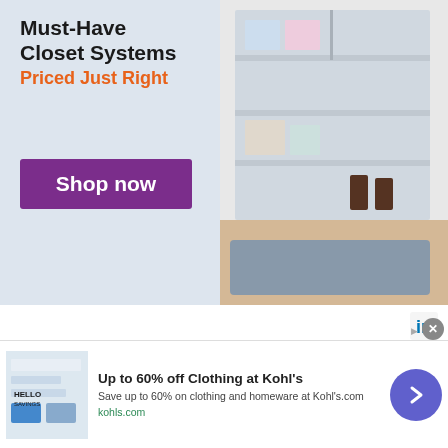[Figure (illustration): Advertisement banner for closet systems with text 'Must-Have Closet Systems Priced Just Right' and a purple 'Shop now' button, alongside a photo of an organized closet]
[Figure (logo): LinkedIn 'in' logo icon]
In my first attempt to find pitchers that fit this description, I used the Z-scores of several different metrics to develop a score for each pitcher. Click here for an explanation of Z-score. The six metrics I chose were K/9, BB/9, HR/9, GB%, Contact%, and SwStr%. These all were chosen because these were six of the metrics that I felt were most likely to be important for relievers. K/9, GB%, Contact%, and SwStr% are all indicative of an ability to get out of potential jams, whether through a strikeout or through a double play. The other two metrics are important because th
[Figure (screenshot): Advertisement for Kohl's: 'Up to 60% off Clothing at Kohl's' with subtitle 'Save up to 60% on clothing and homeware at Kohl's.com' and domain 'kohls.com', with a circular purple arrow button]